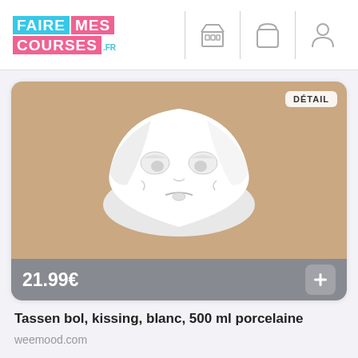FAIRE MES COURSES .FR
[Figure (photo): White porcelain bowl with a sad/kissing face expression on a tan/beige background, with a DÉTAIL badge top right and a price bar showing 21.99€ with a + button]
Tassen bol, kissing, blanc, 500 ml porcelaine
weemood.com
[Figure (photo): Bottom of a second product card with purple/lavender background and DÉTAIL badge, partially visible]